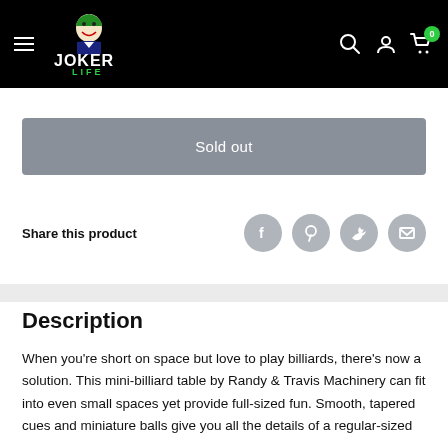Joker Life — navigation header with logo, hamburger menu, search, account, and cart icons
Sold out
Share this product
Description
When you're short on space but love to play billiards, there's now a solution. This mini-billiard table by Randy & Travis Machinery can fit into even small spaces yet provide full-sized fun. Smooth, tapered cues and miniature balls give you all the details of a regular-sized